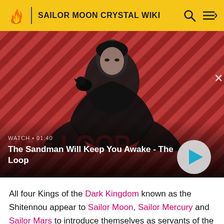SAILOR MOON CRYSTAL WIKI
[Figure (screenshot): Video thumbnail showing a dark-clad figure with a raven on shoulder against a red diagonal-stripe background. Text overlay: WATCH • 01:40 / The Sandman Will Keep You Awake - The Loop]
All four Kings of the Dark Kingdom known as the Shitennou appear to Sailor Moon, Sailor Mercury and Sailor Mars to introduce themselves as servants of the Great Ruler. Kunzite, Zoisite, Nephrite and Jadeite inform